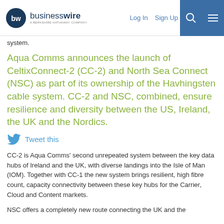businesswire - A Berkshire Hathaway Company | Log In | Sign Up
system.
Aqua Comms announces the launch of CeltixConnect-2 (CC-2) and North Sea Connect (NSC) as part of its ownership of the Havhingsten cable system. CC-2 and NSC, combined, ensure resilience and diversity between the US, Ireland, the UK and the Nordics.
Tweet this
CC-2 is Aqua Comms' second unrepeated system between the key data hubs of Ireland and the UK, with diverse landings into the Isle of Man (IOM). Together with CC-1 the new system brings resilient, high fibre count, capacity connectivity between these key hubs for the Carrier, Cloud and Content markets.
NSC offers a completely new route connecting the UK and the